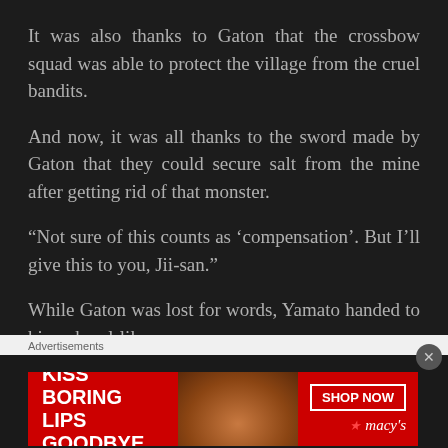It was also thanks to Gaton that the crossbow squad was able to protect the village from the cruel bandits.
And now, it was all thanks to the sword made by Gaton that they could secure salt from the mine after getting rid of that monster.
“Not sure of this counts as ‘compensation’. But I’ll give this to you, Jii-san.”
While Gaton was lost for words, Yamato handed to him a bowl-like cup.
Advertisements
[Figure (photo): Advertisement banner for Macy's lip products. Red background with text 'KISS BORING LIPS GOODBYE' on left, woman's face with red lips in center, 'SHOP NOW' button and Macy's logo on right.]